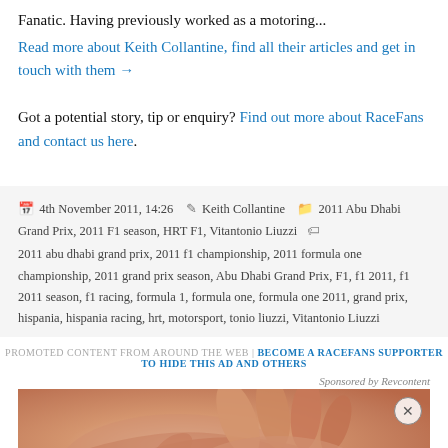Fanatic. Having previously worked as a motoring...
Read more about Keith Collantine, find all their articles and get in touch with them →
Got a potential story, tip or enquiry? Find out more about RaceFans and contact us here.
4th November 2011, 14:26   Keith Collantine   2011 Abu Dhabi Grand Prix, 2011 F1 season, HRT F1, Vitantonio Liuzzi   2011 abu dhabi grand prix, 2011 f1 championship, 2011 formula one championship, 2011 grand prix season, Abu Dhabi Grand Prix, F1, f1 2011, f1 2011 season, f1 racing, formula 1, formula one, formula one 2011, grand prix, hispania, hispania racing, hrt, motorsport, tonio liuzzi, Vitantonio Liuzzi
PROMOTED CONTENT FROM AROUND THE WEB | BECOME A RACEFANS SUPPORTER TO HIDE THIS AD AND OTHERS
Sponsored by Revcontent
[Figure (photo): Close-up photo of a hand, used as an advertisement image with a close (X) button in the top right corner]